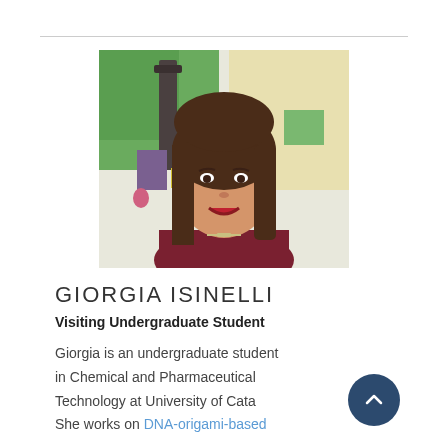[Figure (photo): Portrait photo of Giorgia Isinelli, a young woman with long brown hair, smiling, wearing a dark red/maroon top, in front of a colorful abstract painting background]
GIORGIA ISINELLI
Visiting Undergraduate Student
Giorgia is an undergraduate student in Chemical and Pharmaceutical Technology at University of Cata She works on DNA-origami-based